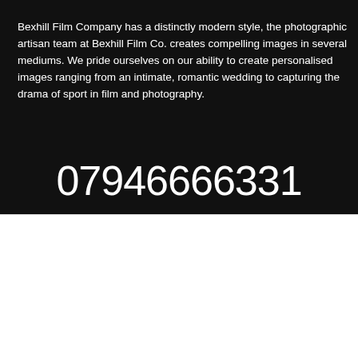[Figure (screenshot): Dark background section of a website for Bexhill Film Company]
Bexhill Film Company has a distinctly modern style, the photographic artisan team at Bexhill Film Co. creates compelling images in several mediums. We pride ourselves on our ability to create personalised images ranging from an intimate, romantic wedding to capturing the drama of sport in film and photography.
07946666331
We use cookies on our website to give you the most relevant experience by remembering your preferences and repeat visits. By clicking "Accept All", you consent to the use of ALL the cookies. However, you may visit "Cookie Settings" to provide a controlled consent.